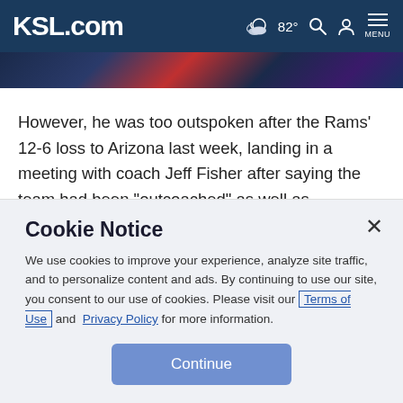KSL.com | 82° MENU
[Figure (screenshot): Partial image strip showing colorful broadcast graphic at top of article]
However, he was too outspoken after the Rams' 12-6 loss to Arizona last week, landing in a meeting with coach Jeff Fisher after saying the team had been "outcoached" as well as "outplayed" in what he called "a bad display."
He wants people to know that was just frustration pouring out.
Cookie Notice
We use cookies to improve your experience, analyze site traffic, and to personalize content and ads. By continuing to use our site, you consent to our use of cookies. Please visit our Terms of Use and Privacy Policy for more information.
Continue